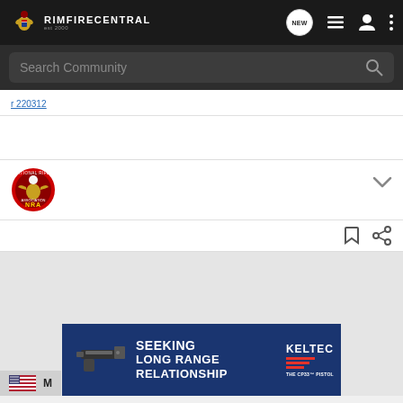[Figure (screenshot): RimfireCentral website navigation bar with logo, NEW chat bubble icon, list icon, user icon, and three-dot menu icon on dark background]
[Figure (screenshot): Search Community search bar on dark background with magnifying glass icon]
r 220312
[Figure (logo): National Rifle Association (NRA) circular badge logo with eagle]
[Figure (infographic): Kel-Tec advertisement banner: 'SEEKING LONG RANGE RELATIONSHIP - THE CP33 PISTOL' with image of black pistol on dark blue background]
[Figure (logo): US flag icon at bottom left]